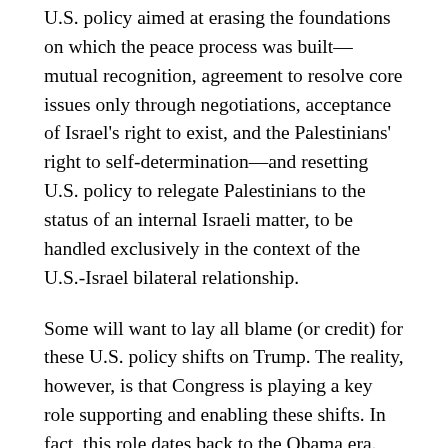U.S. policy aimed at erasing the foundations on which the peace process was built—mutual recognition, agreement to resolve core issues only through negotiations, acceptance of Israel's right to exist, and the Palestinians' right to self-determination—and resetting U.S. policy to relegate Palestinians to the status of an internal Israeli matter, to be handled exclusively in the context of the U.S.-Israel bilateral relationship.
Some will want to lay all blame (or credit) for these U.S. policy shifts on Trump. The reality, however, is that Congress is playing a key role supporting and enabling these shifts. In fact, this role dates back to the Obama era.
Take, for example, the question of whether the United States views the West Bank, Gaza, and East